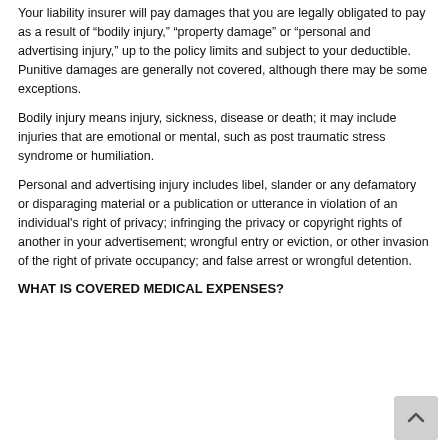Your liability insurer will pay damages that you are legally obligated to pay as a result of “bodily injury,” “property damage” or “personal and advertising injury,” up to the policy limits and subject to your deductible. Punitive damages are generally not covered, although there may be some exceptions.
Bodily injury means injury, sickness, disease or death; it may include injuries that are emotional or mental, such as post traumatic stress syndrome or humiliation.
Personal and advertising injury includes libel, slander or any defamatory or disparaging material or a publication or utterance in violation of an individual's right of privacy; infringing the privacy or copyright rights of another in your advertisement; wrongful entry or eviction, or other invasion of the right of private occupancy; and false arrest or wrongful detention.
WHAT IS COVERED MEDICAL EXPENSES?